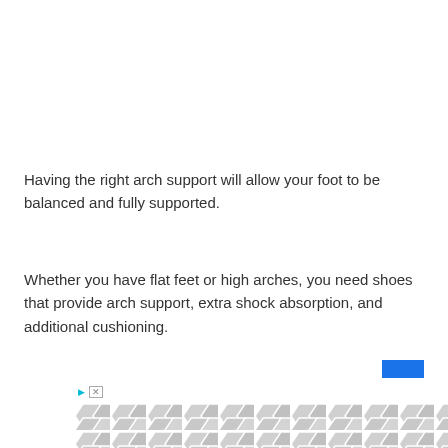Having the right arch support will allow your foot to be balanced and fully supported.
Whether you have flat feet or high arches, you need shoes that provide arch support, extra shock absorption, and additional cushioning.
This will prevent your feet from hurting or getting sore when you dance.
[Figure (other): Advertisement banner with hexagonal grey pattern background and play/close controls]